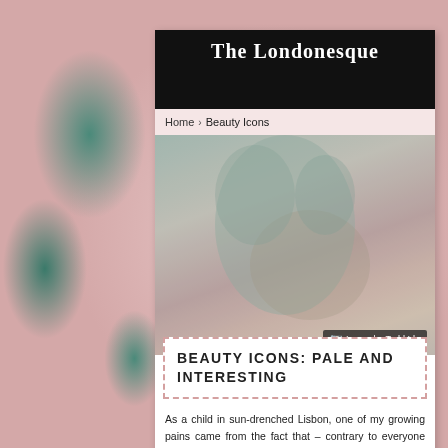The Londonesque
Home > Beauty Icons
[Figure (photo): Close-up photograph of a person's face and neck with grey-green face mask applied, credited to Todd Ido]
Image by Todd Ido
BEAUTY ICONS: PALE AND INTERESTING
As a child in sun-drenched Lisbon, one of my growing pains came from the fact that – contrary to everyone around me – my skin was painfully pale, the kind of milky white which, so transparent and devoid of melanin to call its own, would reflect back whichever sun ray